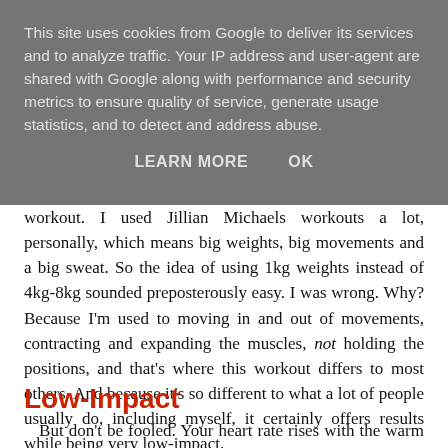This site uses cookies from Google to deliver its services and to analyze traffic. Your IP address and user-agent are shared with Google along with performance and security metrics to ensure quality of service, generate usage statistics, and to detect and address abuse.
LEARN MORE    OK
workout. I used Jillian Michaels workouts a lot, personally, which means big weights, big movements and a big sweat. So the idea of using 1kg weights instead of 4kg-8kg sounded preposterously easy. I was wrong. Why? Because I'm used to moving in and out of movements, contracting and expanding the muscles, not holding the positions, and that's where this workout differs to most others. And because it's so different to what a lot of people usually do, including myself, it certainly offers results while being very low-impact.
Low-Impact
But don't be fooled. Your heart rate rises with the warm up, then the rest of the workout is very calm, very steady, and your work is quite isolated to particular muscles. This means